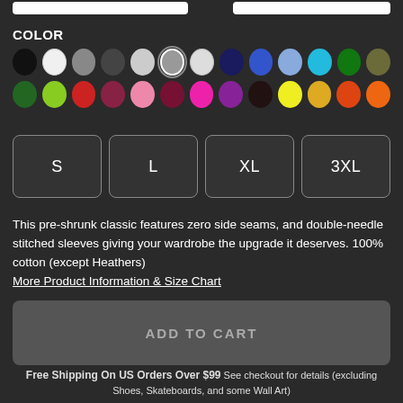COLOR
[Figure (infographic): Grid of circular color swatches for product color selection. Row 1: black, white, gray, dark gray, light gray, medium gray (selected with white border), pale gray, navy, blue, light blue, cyan, green, olive. Row 2: dark green, lime green, red, dark red, pink, maroon, hot pink, purple, dark brown, yellow, gold/amber, orange-red, bright orange.]
S
L
XL
3XL
This pre-shrunk classic features zero side seams, and double-needle stitched sleeves giving your wardrobe the upgrade it deserves. 100% cotton (except Heathers)
More Product Information & Size Chart
ADD TO CART
Free Shipping On US Orders Over $99 See checkout for details (excluding Shoes, Skateboards, and some Wall Art)